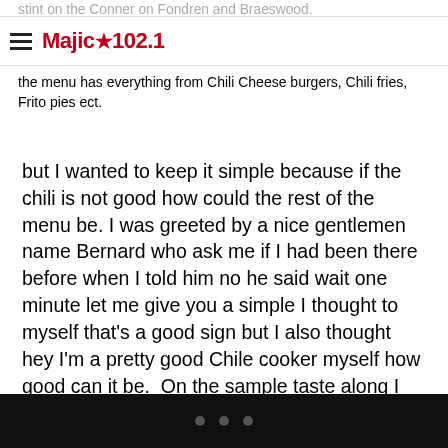Majic★102.1
stint on the Conner on Fondren and Braeswood. the menu has everything from Chili Cheese burgers, Chili fries, Frito pies ect.
but I wanted to keep it simple because if the chili is not good how could the rest of the menu be. I was greeted by a nice gentlemen name Bernard who ask me if I had been there before when I told him no he said wait one minute let me give you a simple I thought to myself that's a good sign but I also thought hey I'm a pretty good Chile cooker myself how good can it be. On the sample taste along I was sold it was meaty just the way I like it had a good thick rue and when the spices hit my mouth my tongue say (How You Doing) the chili had the right amount of everything not to spicy.
• • •